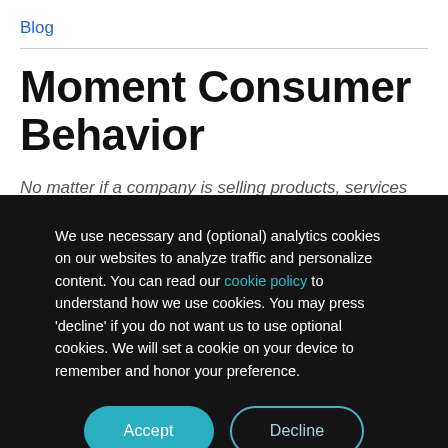Blog
Moment Consumer Behavior
No matter if a company is selling products, services
We use necessary and (optional) analytics cookies on our websites to analyze traffic and personalize content. You can read our cookie policy to understand how we use cookies. You may press 'decline' if you do not want us to use optional cookies. We will set a cookie on your device to remember and honor your preference.